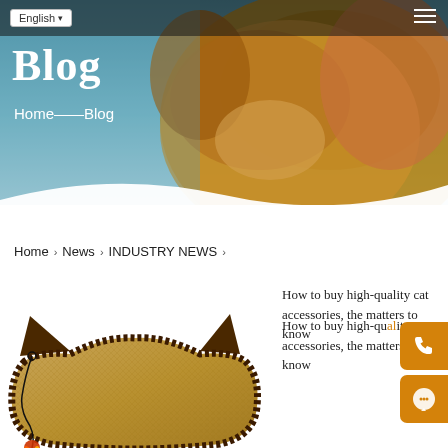Blog
Home——Blog
Home › News › INDUSTRY NEWS ›
How to buy high-quality cat accessories, the matters to know
[Figure (photo): Cat scratching mat/pad in burlap/jute material shaped like a cat head silhouette with dark brown edging and a dangling toy with colorful feathers]
[Figure (photo): Background banner showing a dog and person with blue/teal gradient overlay]